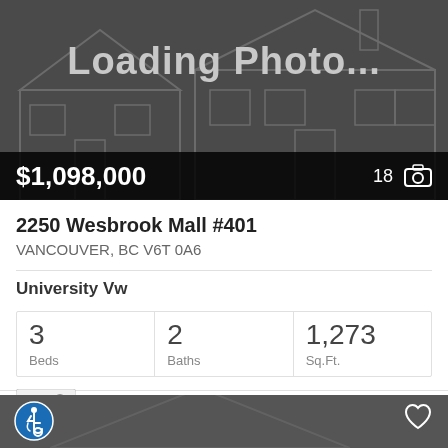[Figure (photo): Loading Photo placeholder with gray house outline illustration]
$1,098,000
18 📷
2250 Wesbrook Mall #401
VANCOUVER, BC V6T 0A6
University Vw
3 Beds
2 Baths
1,273 Sq.Ft.
RE/MAX Select Properties
[Figure (photo): Bottom card with gray background, accessibility icon (wheelchair), heart icon, and partial house roof outline]